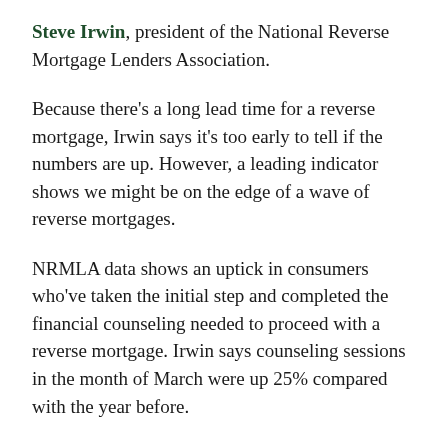Steve Irwin, president of the National Reverse Mortgage Lenders Association.
Because there's a long lead time for a reverse mortgage, Irwin says it's too early to tell if the numbers are up. However, a leading indicator shows we might be on the edge of a wave of reverse mortgages.
NRMLA data shows an uptick in consumers who've taken the initial step and completed the financial counseling needed to proceed with a reverse mortgage. Irwin says counseling sessions in the month of March were up 25% compared with the year before.
Before homeowners can apply for a reverse mortgage or complete a final application, they must complete independent third-party counseling, he notes, adding that those counseling sessions are up significantly in the first quarter.